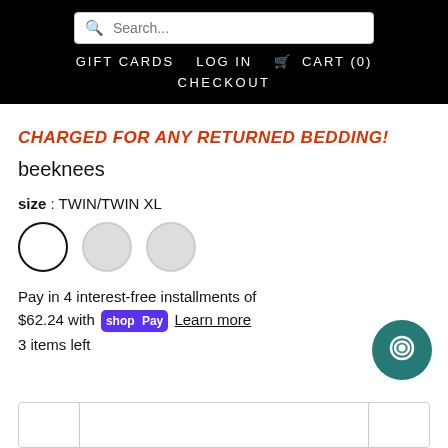Search... | GIFT CARDS | LOG IN | CART (0) | CHECKOUT
CHARGED FOR ANY RETURNED BEDDING!
beeknees
size : TWIN/TWIN XL
[Figure (other): Three circular size selector buttons; first is selected (black outline), second and third are unselected (light gray)]
Pay in 4 interest-free installments of $62.24 with shop Pay Learn more
3 items left
[Figure (other): Teal chat bubble icon button in bottom right corner]
Bottom action bar with quantity selector and add to cart button (partially visible)